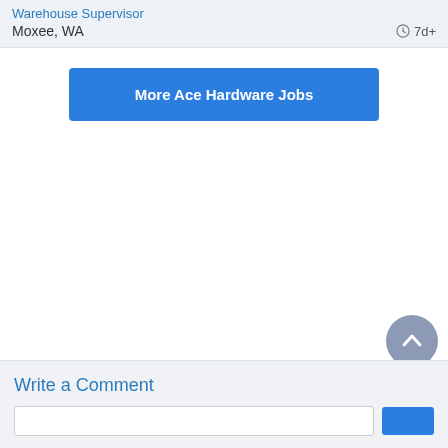Warehouse Supervisor
Moxee, WA    7d+
More Ace Hardware Jobs
Write a Comment